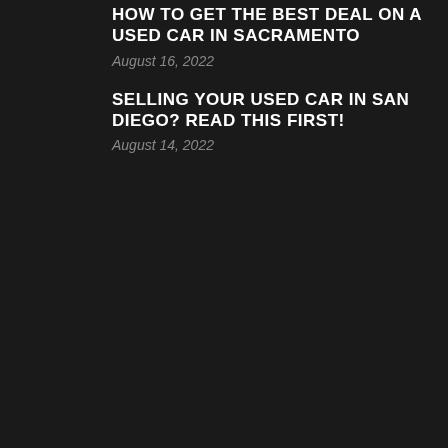HOW TO GET THE BEST DEAL ON A USED CAR IN SACRAMENTO
August 16, 2022
SELLING YOUR USED CAR IN SAN DIEGO? READ THIS FIRST!
August 14, 2022